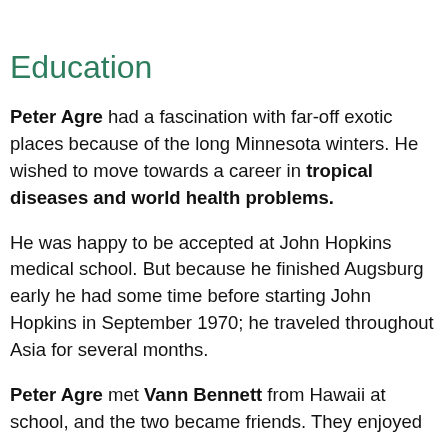Education
Peter Agre had a fascination with far-off exotic places because of the long Minnesota winters. He wished to move towards a career in tropical diseases and world health problems.
He was happy to be accepted at John Hopkins medical school. But because he finished Augsburg early he had some time before starting John Hopkins in September 1970; he traveled throughout Asia for several months.
Peter Agre met Vann Bennett from Hawaii at school, and the two became friends. They enjoyed